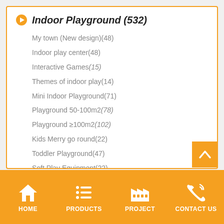Indoor Playground (532)
My town (New design)(48)
Indoor play center(48)
Interactive Games(15)
Themes of indoor play(14)
Mini Indoor Playground(71)
Playground 50-100m2(78)
Playground ≥100m2(102)
Kids Merry go round(22)
Toddler Playground(47)
Soft Play Equipment(22)
Soft Playground(48)
HOME | PRODUCTS | PROJECT | CONTACT US